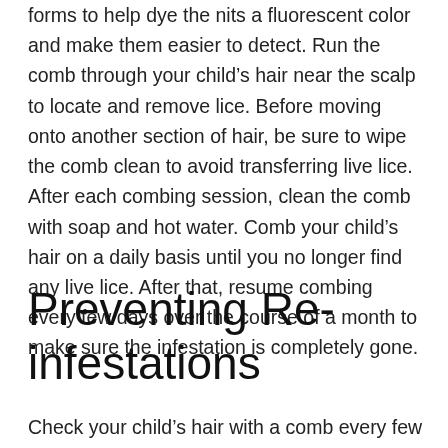forms to help dye the nits a fluorescent color and make them easier to detect. Run the comb through your child's hair near the scalp to locate and remove lice. Before moving onto another section of hair, be sure to wipe the comb clean to avoid transferring live lice. After each combing session, clean the comb with soap and hot water. Comb your child's hair on a daily basis until you no longer find any live lice. After that, resume combing every few days over the course of a month to make sure the infestation is completely gone.
Preventing Re-infestations
Check your child's hair with a comb every few days for